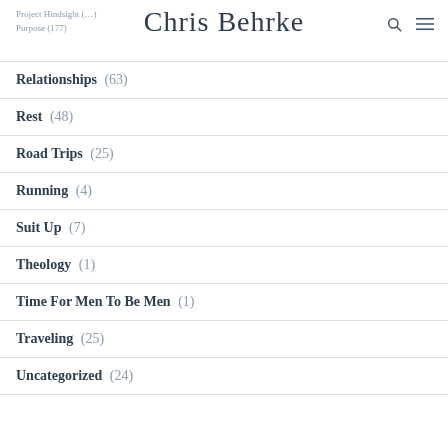Project Hindsight (…) Chris Behrke Purpose (177)
Relationships (63)
Rest (48)
Road Trips (25)
Running (4)
Suit Up (7)
Theology (1)
Time For Men To Be Men (1)
Traveling (25)
Uncategorized (24)